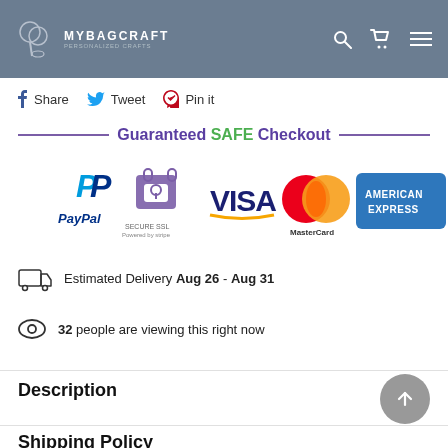MYBAGCRAFT
Share  Tweet  Pin it
Guaranteed SAFE Checkout
[Figure (infographic): Payment method logos: PayPal, Secure SSL, VISA, MasterCard, American Express]
Estimated Delivery Aug 26 - Aug 31
32 people are viewing this right now
Description
Shipping Policy